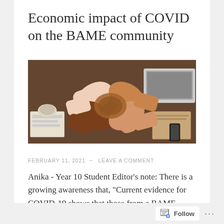Economic impact of COVID on the BAME community
[Figure (photo): Four hands of different skin tones joined together at the wrists in a circle, with office/desk items visible in the background]
FEBRUARY 11, 2021  ~  LEAVE A COMMENT
Anika - Year 10 Student Editor's note: There is a growing awareness that, "Current evidence for COVID-19 shows that those from a BAME (black
Follow  ...